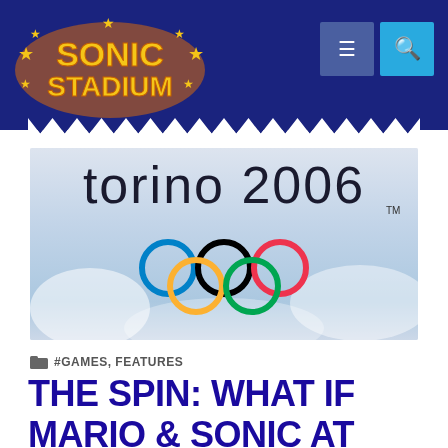[Figure (logo): Sonic Stadium logo — stylized yellow text on dark blue background with orange stars]
[Figure (illustration): Torino 2006 Olympic Winter Games logo — 'torino 2006' text in dark rounded font above the five Olympic rings (blue, black, red, yellow, green) on a light blue/white blurred winter background]
#GAMES, FEATURES
THE SPIN: WHAT IF MARIO & SONIC AT THE TORINO 2006 OLYMPIC WINTER